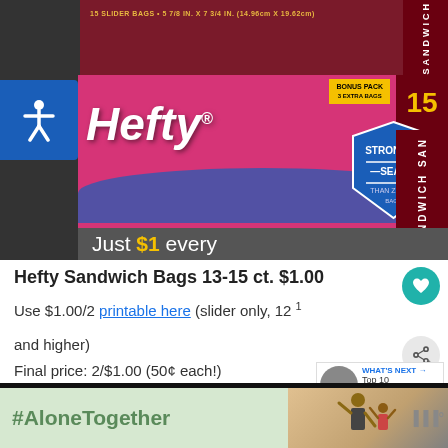[Figure (photo): Photo of Hefty Sandwich Bags boxes on a store shelf with a 'Just $1 every' price tag visible. A blue accessibility icon is in the upper left corner.]
Hefty Sandwich Bags 13-15 ct. $1.00
Use $1.00/2 printable here (slider only, 12 1 and higher)
Final price: 2/$1.00 (50¢ each!)
[Figure (photo): Advertisement banner showing #AloneTogether with a photo of a man and child waving, and a share/media logo on the right.]